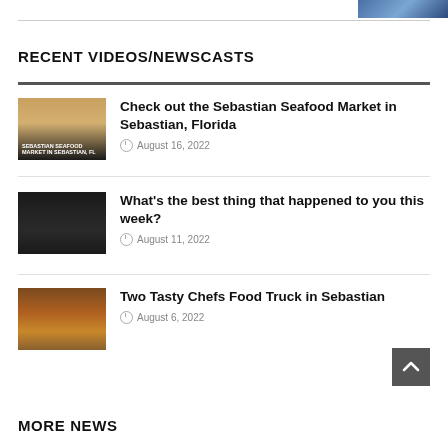[Figure (photo): Partial image visible at top right corner of page]
RECENT VIDEOS/NEWSCASTS
Check out the Sebastian Seafood Market in Sebastian, Florida
August 16, 2022
What's the best thing that happened to you this week?
August 11, 2022
Two Tasty Chefs Food Truck in Sebastian
August 6, 2022
MORE NEWS